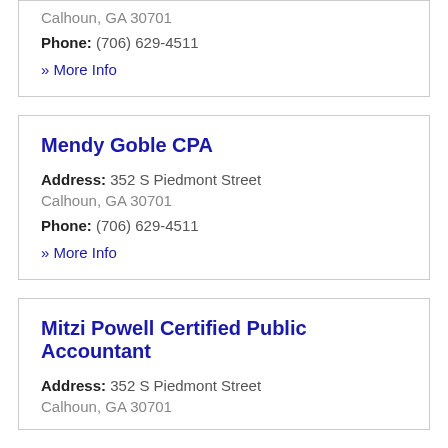Calhoun, GA 30701
Phone: (706) 629-4511
» More Info
Mendy Goble CPA
Address: 352 S Piedmont Street
Calhoun, GA 30701
Phone: (706) 629-4511
» More Info
Mitzi Powell Certified Public Accountant
Address: 352 S Piedmont Street
Calhoun, GA 30701